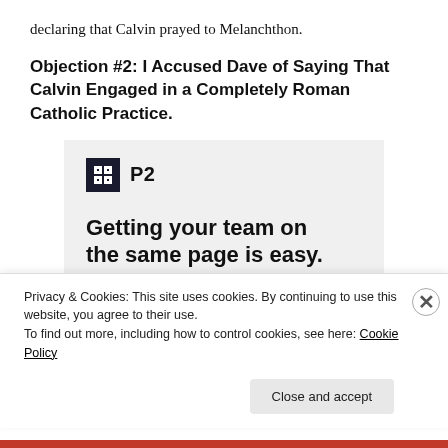declaring that Calvin prayed to Melanchthon.
Objection #2: I Accused Dave of Saying That Calvin Engaged in a Completely Roman Catholic Practice.
[Figure (screenshot): Advertisement screenshot for P2 product showing logo, headline 'Getting your team on the same page is easy. And free.' and user avatar images]
Privacy & Cookies: This site uses cookies. By continuing to use this website, you agree to their use.
To find out more, including how to control cookies, see here: Cookie Policy
Close and accept